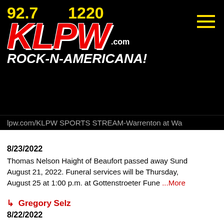[Figure (logo): KLPW Radio station logo with frequencies 92.7 and 1220, red KLPW text with .com, tagline ROCK-N-AMERICANA!, black background]
lpw.com/KLPW SPORTS STREAM-Warrenton at Wa
(partial red text)
8/23/2022
Thomas Nelson Haight of Beaufort passed away Sunday, August 21, 2022. Funeral services will be Thursday, August 25 at 1:00 p.m. at Gottenstroeter Fune ...More
Gregory Selz
8/22/2022
Gregory Selz (partial text cut off)